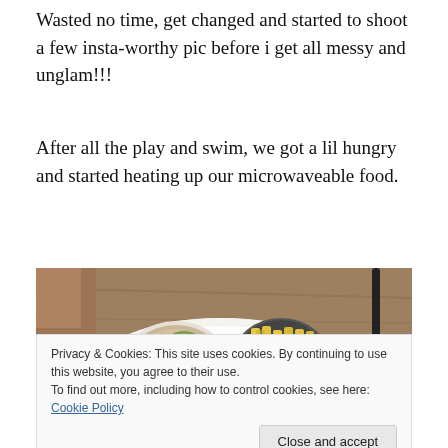Wasted no time, get changed and started to shoot a few insta-worthy pic before i get all messy and unglam!!!
After all the play and swim, we got a lil hungry and started heating up our microwaveable food.
[Figure (photo): A white plate/bowl on a wooden table with food: coleslaw with avocado, a round bowl of french fries, and a fried egg. A black straw is visible on the right side.]
Privacy & Cookies: This site uses cookies. By continuing to use this website, you agree to their use.
To find out more, including how to control cookies, see here: Cookie Policy
[Figure (photo): Bottom portion of another food photo partially visible at the bottom of the page.]